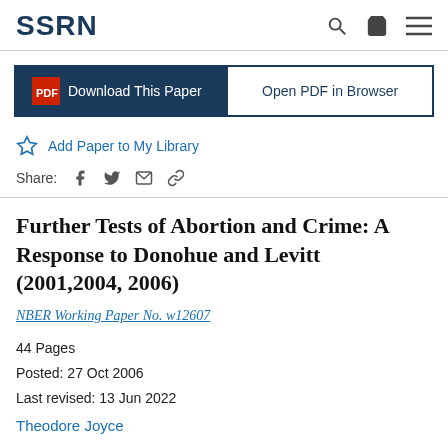SSRN
Download This Paper  |  Open PDF in Browser
Add Paper to My Library
Share:
Further Tests of Abortion and Crime: A Response to Donohue and Levitt (2001,2004, 2006)
NBER Working Paper No. w12607
44 Pages
Posted: 27 Oct 2006
Last revised: 13 Jun 2022
Theodore Joyce